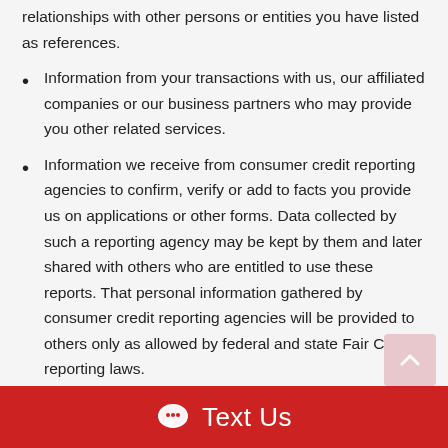relationships with other persons or entities you have listed as references.
Information from your transactions with us, our affiliated companies or our business partners who may provide you other related services.
Information we receive from consumer credit reporting agencies to confirm, verify or add to facts you provide us on applications or other forms. Data collected by such a reporting agency may be kept by them and later shared with others who are entitled to use these reports. That personal information gathered by consumer credit reporting agencies will be provided to others only as allowed by federal and state Fair Credit reporting laws.
Information we receive from your insurance agent or broker to confirm the presence of applicable insurance coverages required